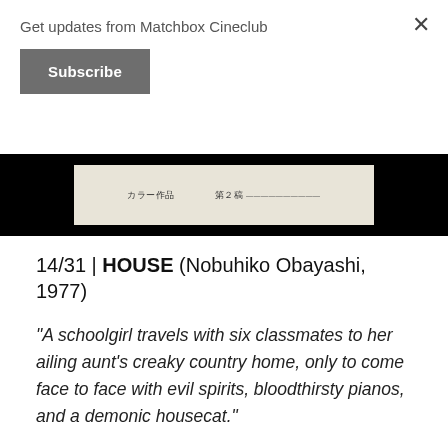Get updates from Matchbox Cineclub
Subscribe
[Figure (photo): Film strip or movie poster image showing Japanese text including カラー作品 and 第２稿]
14/31 | HOUSE (Nobuhiko Obayashi, 1977)
“A schoolgirl travels with six classmates to her ailing aunt’s creaky country home, only to come face to face with evil spirits, bloodthirsty pianos, and a demonic housecat.”
No weird horror countdown could possibly skip Nobuhiko Obayashi’s psychedelic